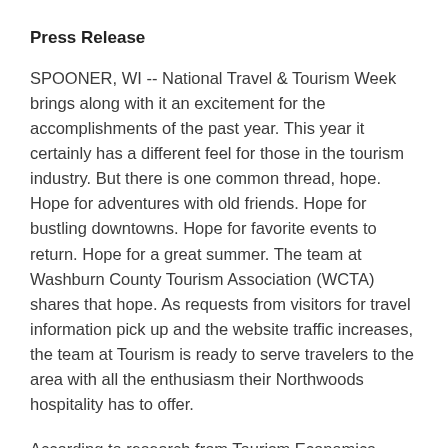Press Release
SPOONER, WI -- National Travel & Tourism Week brings along with it an excitement for the accomplishments of the past year. This year it certainly has a different feel for those in the tourism industry. But there is one common thread, hope. Hope for adventures with old friends. Hope for bustling downtowns. Hope for favorite events to return. Hope for a great summer. The team at Washburn County Tourism Association (WCTA) shares that hope. As requests from visitors for travel information pick up and the website traffic increases, the team at Tourism is ready to serve travelers to the area with all the enthusiasm their Northwoods hospitality has to offer.
According to research from Tourism Economics, released by the Wisconsin Department of Tourism,